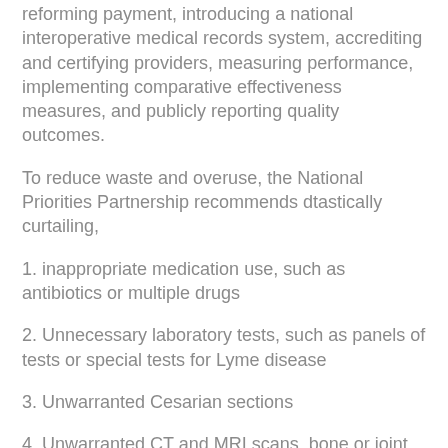reforming payment, introducing a national interoperative medical records system, accrediting and certifying providers, measuring performance, implementing comparative effectiveness measures, and publicly reporting quality outcomes.
To reduce waste and overuse, the National Priorities Partnership recommends dtastically curtailing,
1. inappropriate medication use, such as antibiotics or multiple drugs
2. Unnecessary laboratory tests, such as panels of tests or special tests for Lyme disease
3. Unwarranted Cesarian sections
4. Unwarranted CT and MRI scans, bone or joint x-ray, endoscopies
5. End of life nonpalliative services